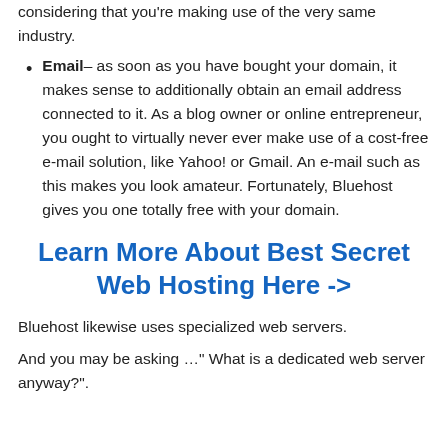considering that you're making use of the very same industry.
Email– as soon as you have bought your domain, it makes sense to additionally obtain an email address connected to it. As a blog owner or online entrepreneur, you ought to virtually never ever make use of a cost-free e-mail solution, like Yahoo! or Gmail. An e-mail such as this makes you look amateur. Fortunately, Bluehost gives you one totally free with your domain.
Learn More About Best Secret Web Hosting Here ->
Bluehost likewise uses specialized web servers.
And you may be asking …" What is a dedicated web server anyway?".